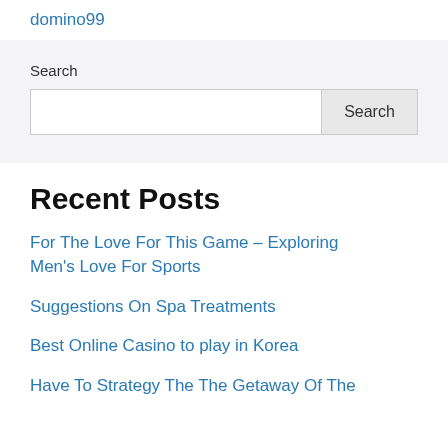domino99
Search
Recent Posts
For The Love For This Game – Exploring Men's Love For Sports
Suggestions On Spa Treatments
Best Online Casino to play in Korea
Have To Strategy The The Getaway Of The